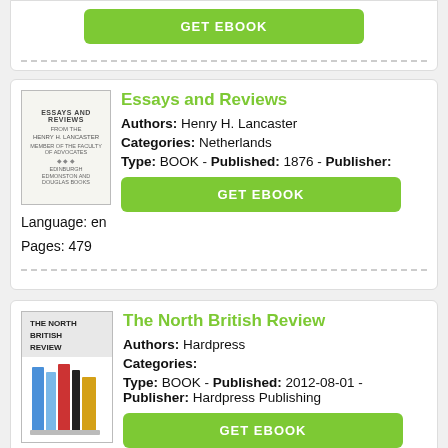[Figure (illustration): GET EBOOK green button at top of page (partial card cut off)]
[Figure (illustration): Book cover for Essays and Reviews - old style text layout on light background]
Essays and Reviews
Authors: Henry H. Lancaster
Categories: Netherlands
Type: BOOK - Published: 1876 - Publisher:
Language: en
Pages: 479
[Figure (illustration): GET EBOOK green button]
[Figure (illustration): Book cover for The North British Review - colorful books illustration]
The North British Review
Authors: Hardpress
Categories:
Type: BOOK - Published: 2012-08-01 - Publisher: Hardpress Publishing
Language: en
Pages: 538
[Figure (illustration): GET EBOOK green button]